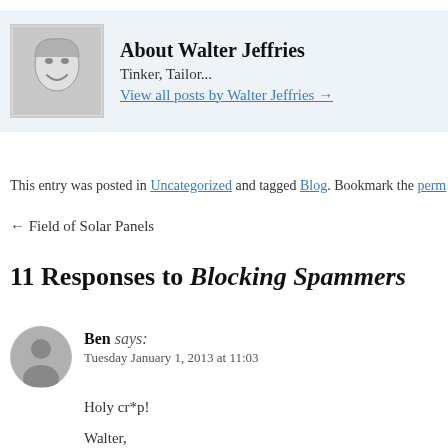[Figure (photo): Author photo of Walter Jeffries - pencil sketch or grayscale portrait photo of a smiling person]
About Walter Jeffries
Tinker, Tailor...
View all posts by Walter Jeffries →
This entry was posted in Uncategorized and tagged Blog. Bookmark the perm
← Field of Solar Panels
11 Responses to Blocking Spammers
[Figure (illustration): Generic user avatar icon - gray silhouette of a person]
Ben says:
Tuesday January 1, 2013 at 11:03
Holy cr*p!

Walter,
I have been lurking/reading your blog for a looong time... inspiration to me and I find our family now on 11 acres...